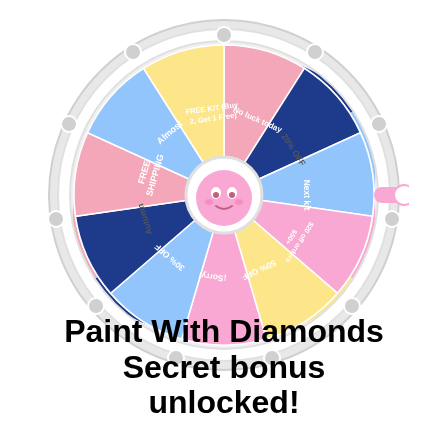[Figure (other): A colorful prize spin wheel with multiple segments including: FREE SHIPPING (pink), Almost (dark blue), FREE KIT (Buy 2, Get 1 Free) (light blue), No luck today (pink), 20% OFF (yellow), Next kit (pink), $20 off orders $50+ (light blue), 50% OFF (dark blue), Sorry! (pink), 30% OFF (light blue), Autumn (yellow), FREE SHIPPING. The wheel has a pink mascot character in the center hub, a pink arrow/pointer on the right side, and decorative knobs around the rim.]
Paint With Diamonds Secret bonus unlocked!